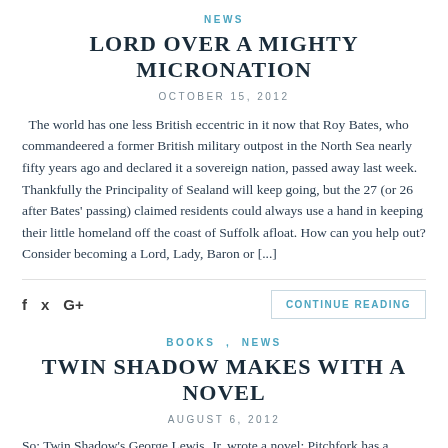NEWS
LORD OVER A MIGHTY MICRONATION
OCTOBER 15, 2012
The world has one less British eccentric in it now that Roy Bates, who commandeered a former British military outpost in the North Sea nearly fifty years ago and declared it a sovereign nation, passed away last week. Thankfully the Principality of Sealand will keep going, but the 27 (or 26 after Bates' passing) claimed residents could always use a hand in keeping their little homeland off the coast of Suffolk afloat. How can you help out? Consider becoming a Lord, Lady, Baron or [...]
f  ✕  G+  CONTINUE READING
BOOKS , NEWS
TWIN SHADOW MAKES WITH A NOVEL
AUGUST 6, 2012
So: Twin Shadow's George Lewis, Jr. wrote a novel; Pitchfork has a